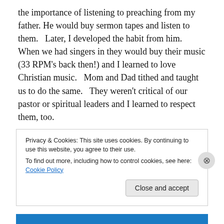the importance of listening to preaching from my father. He would buy sermon tapes and listen to them.  Later, I developed the habit from him.  When we had singers in they would buy their music (33 RPM's back then!) and I learned to love Christian music.  Mom and Dad tithed and taught us to do the same.  They weren't critical of our pastor or spiritual leaders and I learned to respect them, too.

My parents obeyed the Lord through their service.  They were busy in God's work for all of my life.  Teaching
Privacy & Cookies: This site uses cookies. By continuing to use this website, you agree to their use.
To find out more, including how to control cookies, see here: Cookie Policy